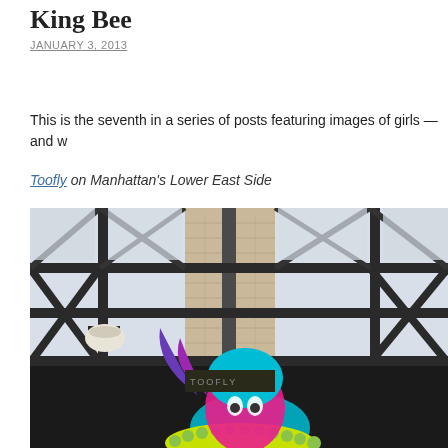King Bee
JANUARY 3, 2013
This is the seventh in a series of posts featuring images of girls — and w
Toofly on Manhattan's Lower East Side
[Figure (photo): Looking up at an industrial steel framework structure with black metal beams, a brick chimney/tower in the center, a round lamp fixture on the left, and colorful graffiti mural visible at the bottom featuring a stylized female face with bright colors (teal, pink, yellow/green).]